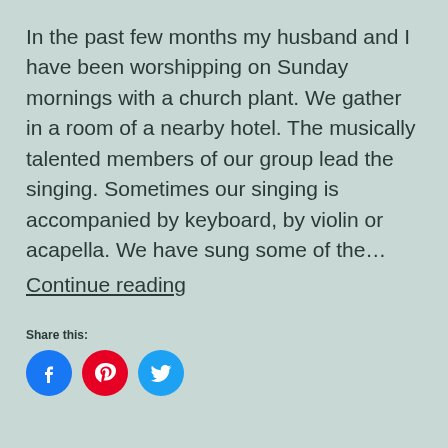In the past few months my husband and I have been worshipping on Sunday mornings with a church plant. We gather in a room of a nearby hotel. The musically talented members of our group lead the singing. Sometimes our singing is accompanied by keyboard, by violin or acapella. We have sung some of the… Continue reading
Share this:
[Figure (infographic): Three social media icon buttons: Facebook (blue circle with f icon), Pinterest (red circle with P icon), Twitter (light blue circle with bird icon)]